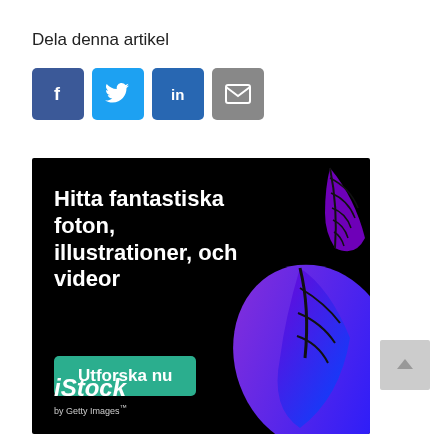Dela denna artikel
[Figure (infographic): Four social sharing buttons: Facebook (dark blue), Twitter (light blue), LinkedIn (blue), Email (grey)]
[Figure (illustration): iStock by Getty Images advertisement on black background with purple tropical leaves, text 'Hitta fantastiska foton, illustrationer, och videor', teal button 'Utforska nu', and iStock by Getty Images logo]